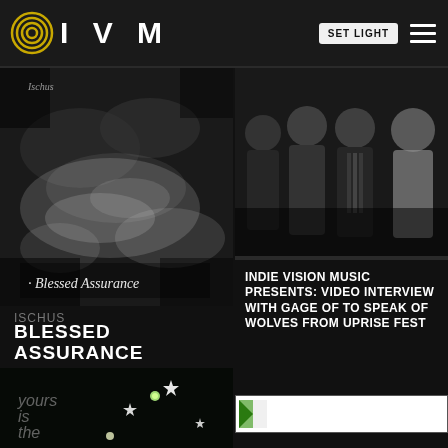IVM - SET LIGHT
[Figure (photo): Black and white textured album cover with handwritten text 'Blessed Assurance']
ISCHUS
BLESSED ASSURANCE
[Figure (photo): Dark photo of a band - four members standing together in dark clothing]
INDIE VISION MUSIC PRESENTS: VIDEO INTERVIEW WITH GAGE OF TO SPEAK OF WOLVES FROM UPRISE FEST
[Figure (photo): Small thumbnail image placeholder]
[Figure (photo): Dark image with stars and text reading 'yours is the']